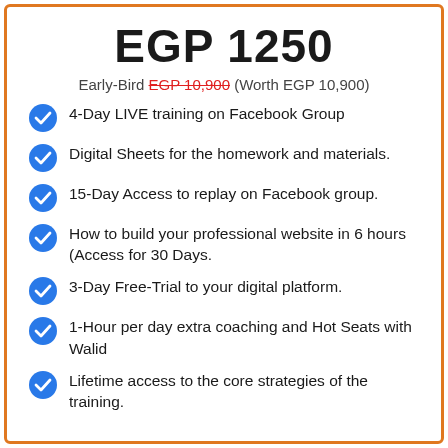EGP 1250
Early-Bird EGP 10,900 (Worth EGP 10,900)
4-Day LIVE training on Facebook Group
Digital Sheets for the homework and materials.
15-Day Access to replay on Facebook group.
How to build your professional website in 6 hours (Access for 30 Days.
3-Day Free-Trial to your digital platform.
1-Hour per day extra coaching and Hot Seats with Walid
Lifetime access to the core strategies of the training.